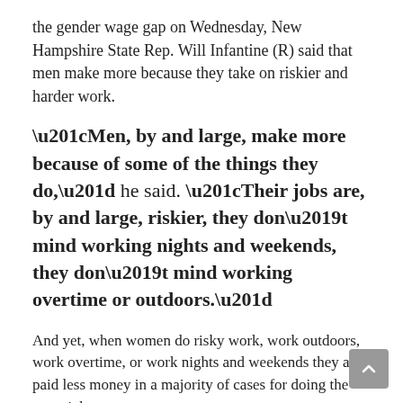the gender wage gap on Wednesday, New Hampshire State Rep. Will Infantine (R) said that men make more because they take on riskier and harder work.
“Men, by and large, make more because of some of the things they do,” he said. “Their jobs are, by and large, riskier, they don’t mind working nights and weekends, they don’t mind working overtime or outdoors.”
And yet, when women do risky work, work outdoors, work overtime, or work nights and weekends they are paid less money in a majority of cases for doing the same job.
To say that women are afraid to take “risky” jobs or work nights and weekends implies that women are all delicate flowers who are afraid of their own shadow. But there’s another dimension to his accusations.